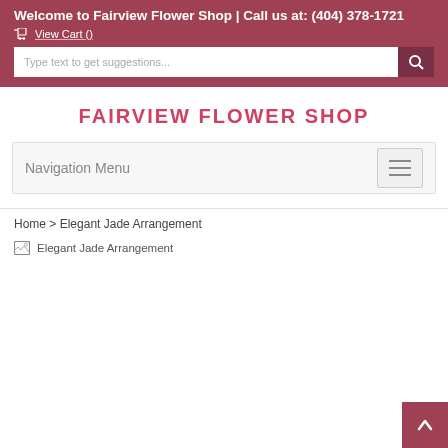Welcome to Fairview Flower Shop | Call us at: (404) 378-1721
🛒 View Cart ()
FAIRVIEW FLOWER SHOP
Navigation Menu
Home > Elegant Jade Arrangement
[Figure (photo): Broken image placeholder for Elegant Jade Arrangement product photo]